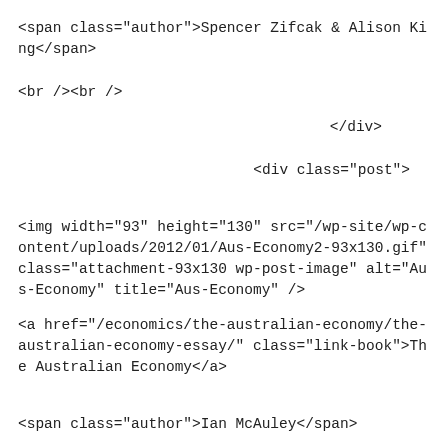<span class="author">Spencer Zifcak & Alison King</span>
<br /><br />
</div>
<div class="post">
<img width="93" height="130" src="/wp-site/wp-content/uploads/2012/01/Aus-Economy2-93x130.gif" class="attachment-93x130 wp-post-image" alt="Aus-Economy" title="Aus-Economy" />
<a href="/economics/the-australian-economy/the-australian-economy-essay/" class="link-book">The Australian Economy</a>
<span class="author">Ian McAuley</span>